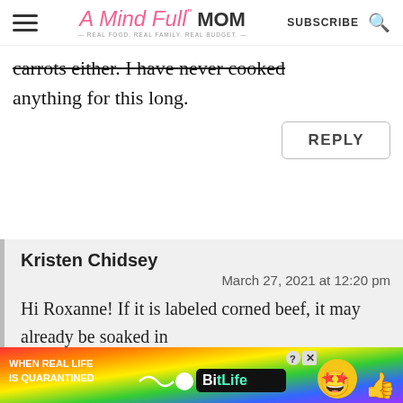A Mind Full Mom — REAL FOOD. REAL FAMILY. REAL BUDGET. | SUBSCRIBE
carrots either. I have never cooked anything for this long.
REPLY
Kristen Chidsey
March 27, 2021 at 12:20 pm
Hi Roxanne! If it is labeled corned beef, it may already be soaked in
[Figure (infographic): Advertisement banner: 'When Real Life Is Quarantined' BitLife app advertisement with rainbow gradient background and emoji characters]